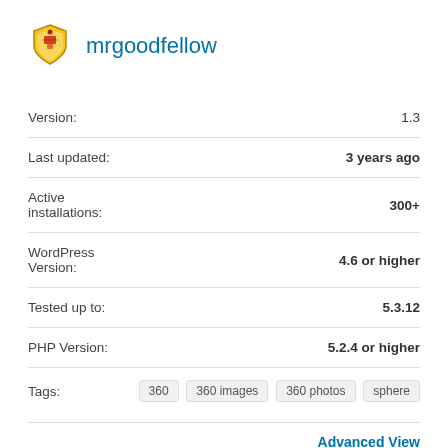[Figure (logo): Shield/crest logo icon for mrgoodfellow]
mrgoodfellow
| Field | Value |
| --- | --- |
| Version: | 1.3 |
| Last updated: | 3 years ago |
| Active installations: | 300+ |
| WordPress Version: | 4.6 or higher |
| Tested up to: | 5.3.12 |
| PHP Version: | 5.2.4 or higher |
| Tags: | 360  360 images  360 photos  sphere |
Advanced View
Ratings